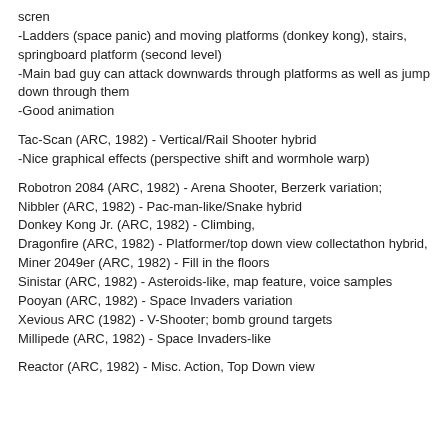scren
-Ladders (space panic) and moving platforms (donkey kong), stairs, springboard platform (second level)
-Main bad guy can attack downwards through platforms as well as jump down through them
-Good animation
Tac-Scan (ARC, 1982) - Vertical/Rail Shooter hybrid
-Nice graphical effects (perspective shift and wormhole warp)
Robotron 2084 (ARC, 1982) - Arena Shooter, Berzerk variation;
Nibbler (ARC, 1982) - Pac-man-like/Snake hybrid
Donkey Kong Jr. (ARC, 1982) - Climbing,
Dragonfire (ARC, 1982) - Platformer/top down view collectathon hybrid,
Miner 2049er (ARC, 1982) - Fill in the floors
Sinistar (ARC, 1982) - Asteroids-like, map feature, voice samples
Pooyan (ARC, 1982) - Space Invaders variation
Xevious ARC (1982) - V-Shooter; bomb ground targets
Millipede (ARC, 1982) - Space Invaders-like
Reactor (ARC, 1982) - Misc. Action, Top Down view